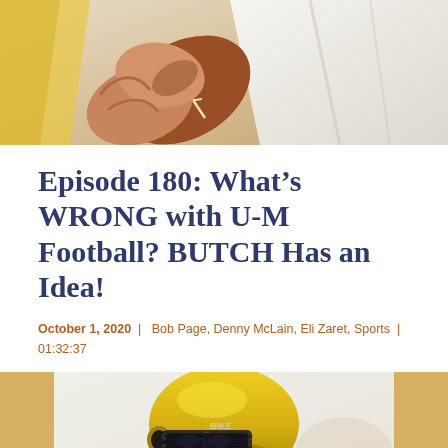[Figure (illustration): Close-up artistic illustration of hands gripping a football, with a player in white uniform in the background]
Episode 180: What's WRONG with U-M Football? BUTCH Has an Idea!
October 1, 2020  |  Bob Page, Denny McLain, Eli Zaret, Sports  |  01:32:37
[Figure (illustration): Artistic illustration of a football player wearing a yellow helmet with BIKE face mask and blue/yellow uniform]